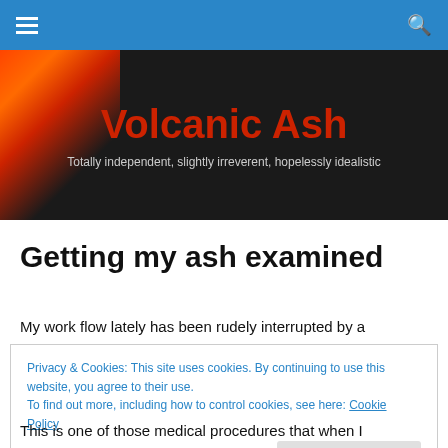Volcanic Ash — navigation bar
[Figure (illustration): Hero banner with lava/volcanic rock background image, site title 'Volcanic Ash' in bold red, subtitle 'Totally independent, slightly irreverent, hopelessly idealistic' in light gray]
Getting my ash examined
My work flow lately has been rudely interrupted by a
Privacy & Cookies: This site uses cookies. By continuing to use this website, you agree to their use.
To find out more, including how to control cookies, see here: Cookie Policy
Close and accept
This is one of those medical procedures that when I